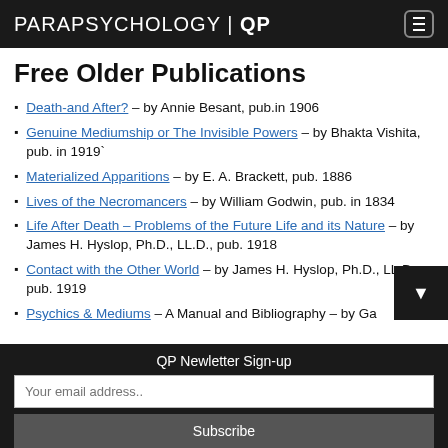PARAPSYCHOLOGY | QP
Free Older Publications
Death-and After? – by Annie Besant, pub.in 1906
Genuine Mediumship or The Invisible Powers – by Bhakta Vishita, pub. in 1919`
Materialized Apparitions – by E. A. Brackett, pub. 1886
Lives of the Necromancers – by William Godwin, pub. in 1834
Life After Death – Problems of the Future Life and its Nature – by James H. Hyslop, Ph.D., LL.D., pub. 1918
Contact with the Other World – by James H. Hyslop, Ph.D., LL.D., pub. 1919
Psychics & Mediums – A Manual and Bibliography – by Ga...
QP Newletter Sign-up
Your email address..
Subscribe